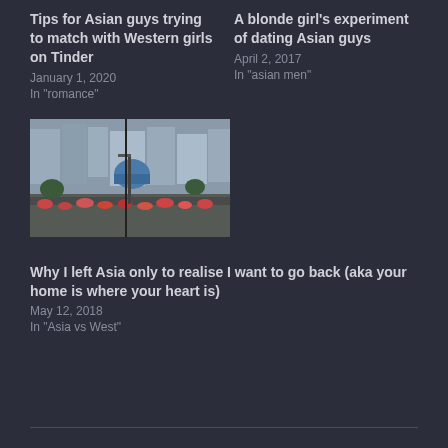Tips for Asian guys trying to match with Western girls on Tinder
January 1, 2020
In "romance"
A blonde girl's experiment of dating Asian guys
April 2, 2017
In "asian men"
[Figure (photo): Street scene in an Asian city with motorbikes, people, buildings, and a blue dome visible in the background]
Why I left Asia only to realise I want to go back (aka your home is where your heart is)
May 12, 2018
In "Asia vs West"